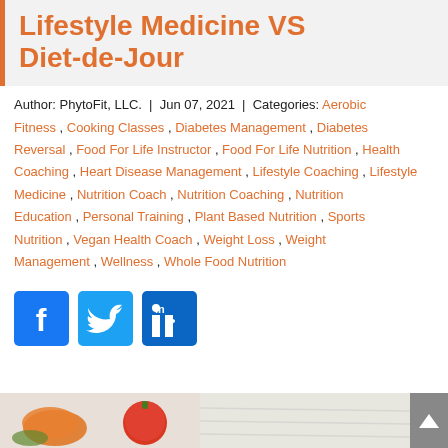Lifestyle Medicine VS Diet-de-Jour
Author: PhytoFit, LLC. | Jun 07, 2021 | Categories: Aerobic Fitness , Cooking Classes , Diabetes Management , Diabetes Reversal , Food For Life Instructor , Food For Life Nutrition , Health Coaching , Heart Disease Management , Lifestyle Coaching , Lifestyle Medicine , Nutrition Coach , Nutrition Coaching , Nutrition Education , Personal Training , Plant Based Nutrition , Sports Nutrition , Vegan Health Coach , Weight Loss , Weight Management , Wellness , Whole Food Nutrition
[Figure (other): Social media share icons: Facebook (blue), Twitter (light blue), LinkedIn (dark blue)]
[Figure (photo): Bottom strip showing vegetables including carrots and tomatoes on a light surface]